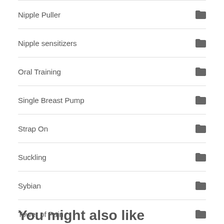Nipple Puller
Nipple sensitizers
Oral Training
Single Breast Pump
Strap On
Suckling
Sybian
Tower of Pain
Transformation
Udder Press
Vacuum Therapy Machine
You might also like